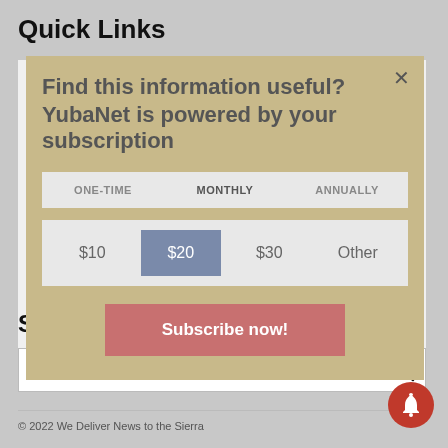Quick Links
Subscriptions
Contact us
About us
Term of Service
Privacy Policy
Editorial Policy
Search
[Figure (screenshot): Subscription modal overlay with heading 'Find this information useful? YubaNet is powered by your subscription', tabs ONE-TIME, MONTHLY, ANNUALLY, amount buttons $10, $20 (selected), $30, Other, and Subscribe now! button]
© 2022 We Deliver News to the Sierra